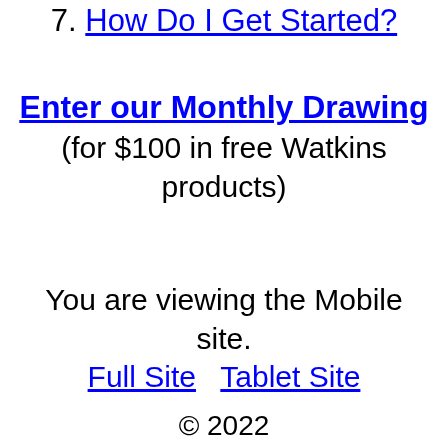7. How Do I Get Started?
Enter our Monthly Drawing (for $100 in free Watkins products)
You are viewing the Mobile site.
Full Site  Tablet Site
© 2022